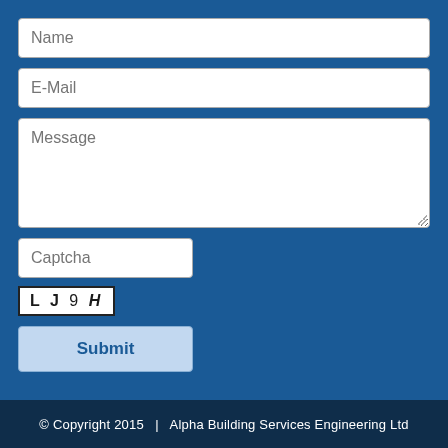Name
E-Mail
Message
Captcha
[Figure (screenshot): CAPTCHA image showing characters: L J 9 H]
Submit
© Copyright 2015   |   Alpha Building Services Engineering Ltd